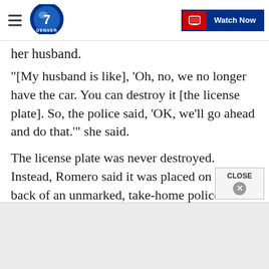Denver7 - Watch Now
her husband.
"[My husband is like], 'Oh, no, we no longer have the car. You can destroy it [the license plate]. So, the police said, 'OK, we'll go ahead and do that.'" she said.
The license plate was never destroyed. Instead, Romero said it was placed on the back of an unmarked, take-home police car where it racked up E-470 toll fees from July to October of last year.
"They just kept coming, and they kept accruing